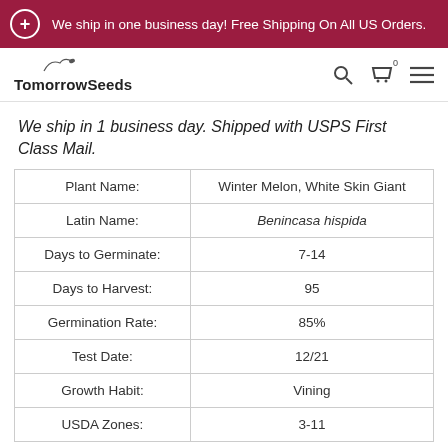We ship in one business day! Free Shipping On All US Orders.
[Figure (logo): TomorrowSeeds logo with stylized plant/bird above text]
We ship in 1 business day. Shipped with USPS First Class Mail.
| Plant Name: | Winter Melon, White Skin Giant |
| Latin Name: | Benincasa hispida |
| Days to Germinate: | 7-14 |
| Days to Harvest: | 95 |
| Germination Rate: | 85% |
| Test Date: | 12/21 |
| Growth Habit: | Vining |
| USDA Zones: | 3-11 |